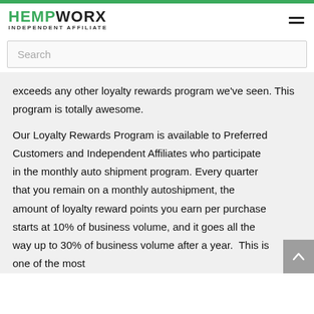HEMPWORX INDEPENDENT AFFILIATE
exceeds any other loyalty rewards program we've seen. This program is totally awesome.
Our Loyalty Rewards Program is available to Preferred Customers and Independent Affiliates who participate in the monthly auto shipment program. Every quarter that you remain on a monthly autoshipment, the amount of loyalty reward points you earn per purchase starts at 10% of business volume, and it goes all the way up to 30% of business volume after a year.  This is one of the most